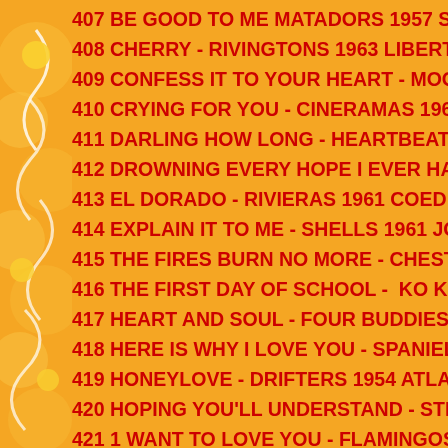407 BE GOOD TO ME MATADORS 1957 SUE
408 CHERRY - RIVINGTONS 1963 LIBERTY
409 CONFESS IT TO YOUR HEART - MOONGLO
410 CRYING FOR YOU - CINERAMAS 1960 RHAPS
411 DARLING HOW LONG - HEARTBEATS 1956 L
412 DROWNING EVERY HOPE I EVER HAD - ORI
413 EL DORADO - RIVIERAS 1961 COED
414 EXPLAIN IT TO ME - SHELLS 1961 JOHNSON
415 THE FIRES BURN NO MORE - CHESTERS 195
416 THE FIRST DAY OF SCHOOL - KO KOS 1958
417 HEART AND SOUL - FOUR BUDDIES 1951 SA
418 HERE IS WHY I LOVE YOU - SPANIELS 1958 V
419 HONEYLOVE - DRIFTERS 1954 ATLANTIC
420 HOPING YOU'LL UNDERSTAND - STRANGER
421 1 WANT TO LOVE YOU - FLAMINGOS 1955 C
422 1 WONDER - PENTAGONS 1961 JAMIE
423 I'D RATHER BE WRONG THAN BLUE - DELT